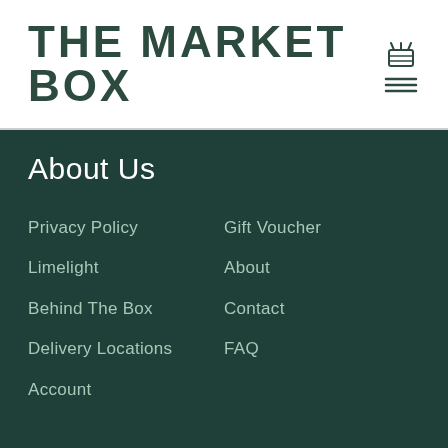THE MARKET BOX
About Us
Privacy Policy
Gift Voucher
Limelight
About
Behind The Box
Contact
Delivery Locations
FAQ
Account